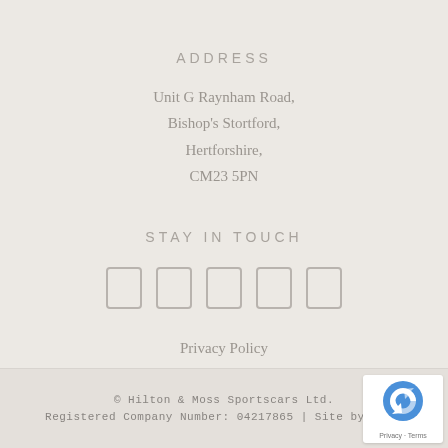ADDRESS
Unit G Raynham Road,
Bishop's Stortford,
Hertforshire,
CM23 5PN
STAY IN TOUCH
[Figure (illustration): Five social media icon placeholders displayed as outlined rectangles in a row]
Privacy Policy
Terms & Conditions
© Hilton & Moss Sportscars Ltd.
Registered Company Number: 04217865 | Site by racec...